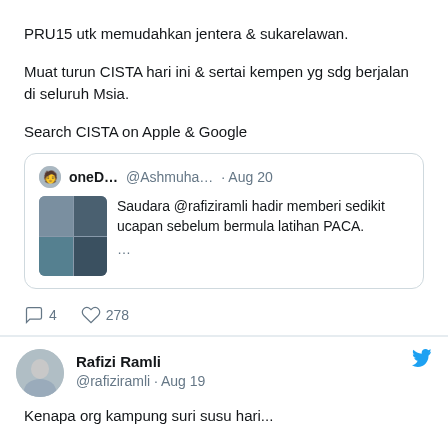PRU15 utk memudahkan jentera & sukarelawan.

Muat turun CISTA hari ini & sertai kempen yg sdg berjalan di seluruh Msia.

Search CISTA on Apple & Google
[Figure (screenshot): Quoted tweet from oneD... @Ashmuha... Aug 20 with text 'Saudara @rafiziramli hadir memberi sedikit ucapan sebelum bermula latihan PACA. ...' and a collage of meeting photos]
4   278
Rafizi Ramli @rafiziramli · Aug 19
Kenapa org kampung suri susu hari...